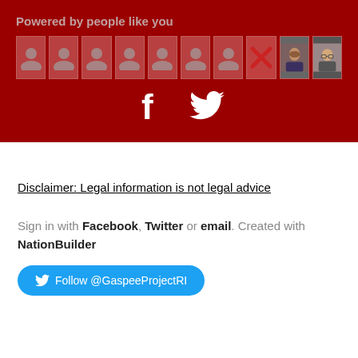Powered by people like you
[Figure (illustration): Row of 10 avatar boxes on dark red background: 7 generic person silhouette icons, 1 red X icon, 1 photo of a woman, 1 photo of a person with glasses]
[Figure (illustration): Facebook and Twitter icons in white on dark red background]
Disclaimer: Legal information is not legal advice
Sign in with Facebook, Twitter or email. Created with NationBuilder
Follow @GaspeeProjectRI